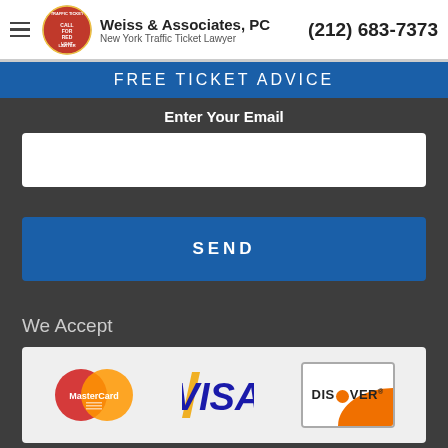Weiss & Associates, PC — New York Traffic Ticket Lawyer | (212) 683-7373
FREE TICKET ADVICE
Enter Your Email
SEND
We Accept
[Figure (logo): Payment method logos: MasterCard, VISA, Discover]